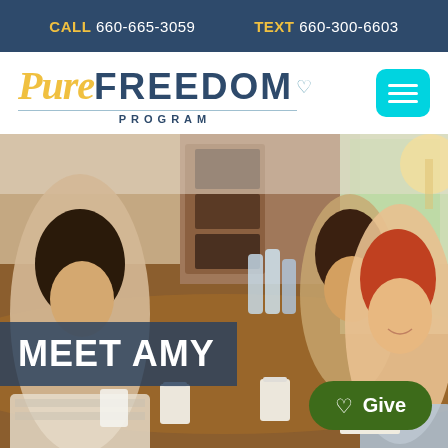CALL 660-665-3059   TEXT 660-300-6603
[Figure (logo): Pure Freedom Program logo with italic 'Pure' in gold and bold 'FREEDOM' in navy, with a small heart icon and 'PROGRAM' text below with underline]
[Figure (photo): Photo of three women sitting around a conference table, smiling and engaged in conversation, with water bottles and coffee cups on the table, office/meeting room background]
MEET AMY
Give